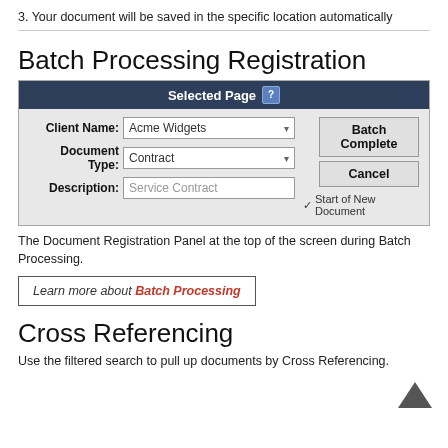3. Your document will be saved in the specific location automatically
Batch Processing Registration
[Figure (screenshot): Batch Processing Registration panel showing Selected Page header with fields: Client Name (Acme Widgets dropdown), Document Type (Contract dropdown), Description (Service Contract text input), and buttons Batch Complete, Cancel, and a checkbox for Start of New Document.]
The Document Registration Panel at the top of the screen during Batch Processing.
Learn more about Batch Processing
Cross Referencing
Use the filtered search to pull up documents by Cross Referencing.